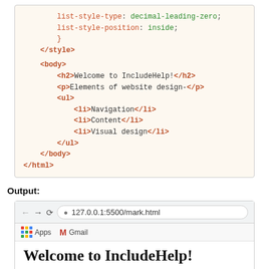[Figure (screenshot): Code block showing HTML/CSS snippet with list-style-type, list-style-position, closing style tag, body tag with h2, p, ul, li elements, closing body and html tags]
Output:
[Figure (screenshot): Browser window screenshot showing address bar with 127.0.0.1:5500/mark.html, bookmarks bar with Apps and Gmail, and page content beginning with 'Welcome to IncludeHelp!' heading]